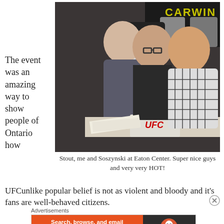[Figure (photo): Three people posing together at a table with UFC branding. Two men and a woman in the middle. Background shows 'CARWIN' text and event posters. UFC logo visible on table signage.]
Stout, me and Soszynski at Eaton Center. Super nice guys and very very HOT!
The event was an amazing way to show people of Ontario how
UFCunlike popular belief is not as violent and bloody and it's fans are well-behaved citizens.
Advertisements
[Figure (infographic): DuckDuckGo advertisement banner. Orange section reads 'Search, browse, and email with more privacy. All in One Free App'. Dark section shows DuckDuckGo duck logo and name.]